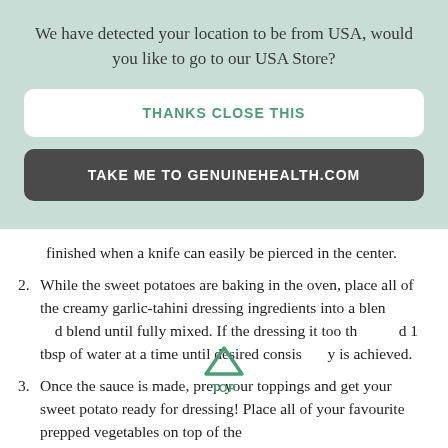We have detected your location to be from USA, would you like to go to our USA Store?
THANKS CLOSE THIS
TAKE ME TO GENUINEHEALTH.COM
finished when a knife can easily be pierced in the center.
2. While the sweet potatoes are baking in the oven, place all of the creamy garlic-tahini dressing ingredients into a blender and blend until fully mixed. If the dressing it too thick, add 1 tbsp of water at a time until desired consistency is achieved.
3. Once the sauce is made, prep your toppings and get your sweet potato ready for dressing! Place all of your favourite prepped vegetables on top of the